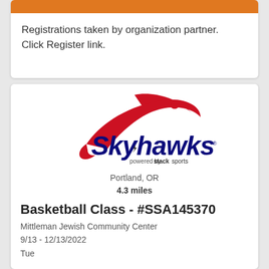Registrations taken by organization partner.
Click Register link.
[Figure (logo): Skyhawks powered by Stack Sports logo with red swoosh/hawk graphic]
Portland, OR
4.3 miles
Basketball Class - #SSA145370
Mittleman Jewish Community Center
9/13 - 12/13/2022
Tue